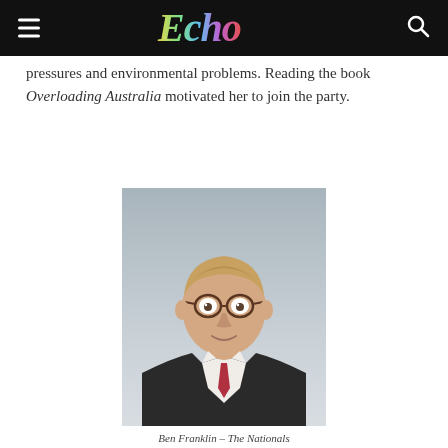Echo
pressures and environmental problems. Reading the book Overloading Australia motivated her to join the party.
[Figure (photo): Headshot portrait of Ben Franklin, a man wearing glasses, a dark suit jacket, white shirt and pink/red tie, with a grey gradient background.]
Ben Franklin – The Nationals